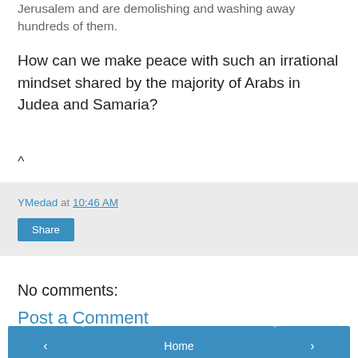Jerusalem and are demolishing and washing away hundreds of them.
How can we make peace with such an irrational mindset shared by the majority of Arabs in Judea and Samaria?
^
YMedad at 10:46 AM
Share
No comments:
Post a Comment
< Home > View web version